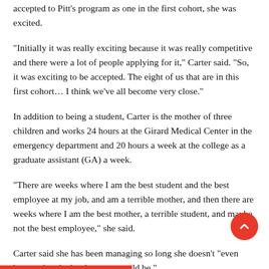accepted to Pitt's program as one in the first cohort, she was excited.
“Initially it was really exciting because it was really competitive and there were a lot of people applying for it,” Carter said. “So, it was exciting to be accepted. The eight of us that are in this first cohort… I think we’ve all become very close.”
In addition to being a student, Carter is the mother of three children and works 24 hours at the Girard Medical Center in the emergency department and 20 hours a week at the college as a graduate assistant (GA) a week.
“There are weeks where I am the best student and the best employee at my job, and am a terrible mother, and then there are weeks where I am the best mother, a terrible student, and maybe not the best employee,” she said.
Carter said she has been managing so long she doesn’t “even know what the hardest part would be.”
“I’m just really good at juggling,” Carter said. “I would say probably